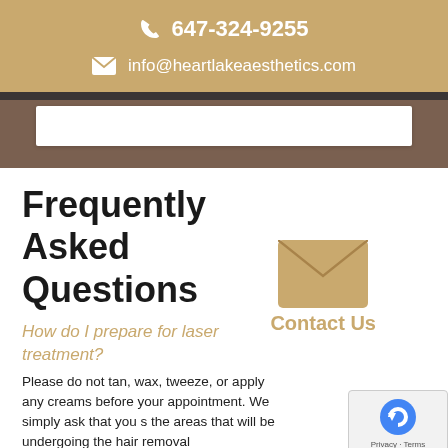647-324-9255
info@heartlakeaesthetics.com
Frequently Asked Questions
[Figure (illustration): Large golden envelope icon with 'Contact Us' text overlay]
How do I prepare for laser treatment?
Please do not tan, wax, tweeze, or apply any creams before your appointment. We simply ask that you shave the areas that will be undergoing the hair removal